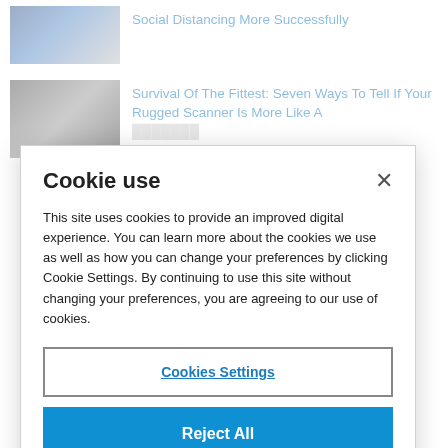Social Distancing More Successfully
[Figure (photo): Warehouse/industrial scene with blue shelving or equipment]
Survival Of The Fittest: Seven Ways To Tell If Your Rugged Scanner Is More Like A ...
[Figure (photo): Person in warehouse wearing dark hat, handling equipment]
Cookie use
This site uses cookies to provide an improved digital experience. You can learn more about the cookies we use as well as how you can change your preferences by clicking Cookie Settings. By continuing to use this site without changing your preferences, you are agreeing to our use of cookies.
Cookies Settings
Reject All
Accept Cookies